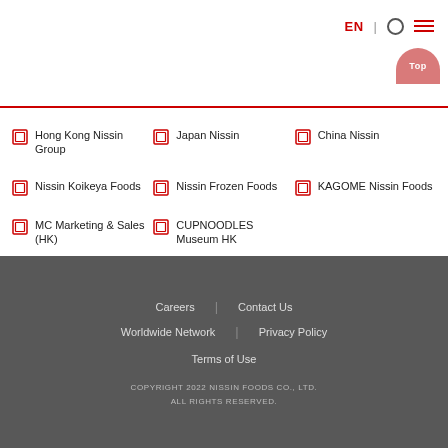EN | [search] [menu]
Hong Kong Nissin Group
Japan Nissin
China Nissin
Nissin Koikeya Foods
Nissin Frozen Foods
KAGOME Nissin Foods
MC Marketing & Sales (HK)
CUPNOODLES Museum HK
Careers | Contact Us
Worldwide Network | Privacy Policy
Terms of Use
COPYRIGHT 2022 NISSIN FOODS CO., LTD. ALL RIGHTS RESERVED.